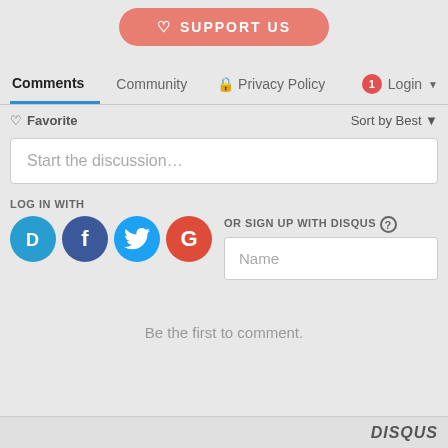[Figure (screenshot): Support Us button with heart icon, salmon/coral colored rounded rectangle]
Comments  Community  Privacy Policy  Login
Favorite  Sort by Best
Start the discussion...
LOG IN WITH
OR SIGN UP WITH DISQUS ?
[Figure (logo): Social login icons: Disqus (D), Facebook (f), Twitter bird, Google (G)]
Name
Be the first to comment.
DISQUS